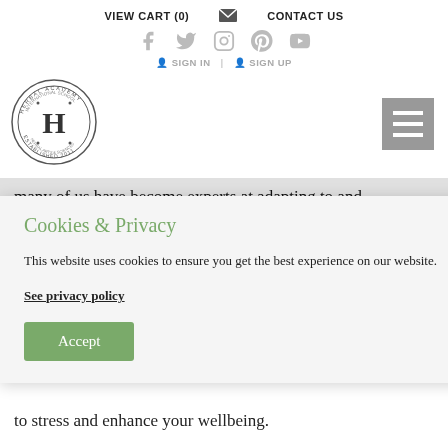VIEW CART (0)   CONTACT US
[Figure (logo): Herbal Academy International School circular stamp logo with letter H in center, established 2011]
[Figure (other): Hamburger menu icon (three horizontal lines) on grey background]
many of us have become experts at adapting to and
performing under stressful conditions, the truth is that chronic
Cookies & Privacy
This website uses cookies to ensure you get the best experience on our website.
See privacy policy
Accept
to stress and enhance your wellbeing.